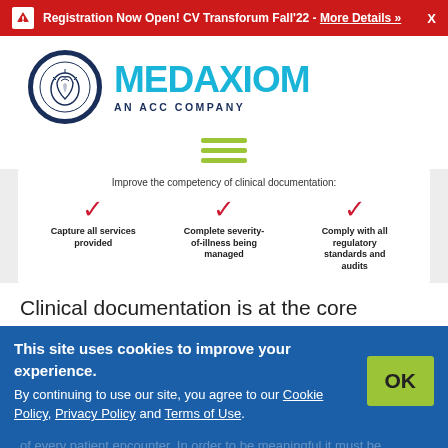Registration Now Open! CV Transforum Fall'22 - More Details » X
[Figure (logo): MedAxiom logo — circular emblem with anatomical heart illustration, blue border, next to large teal MEDAXIOM text and subtitle AN ACC COMPANY]
[Figure (infographic): Hamburger menu icon (three olive/green horizontal lines) and infographic section: 'Improve the competency of clinical documentation:' with three checkmark items: Capture all services provided, Complete severity-of-illness being managed, Comply with all regulatory standards and audits]
Clinical documentation is at the core
This site uses cookies to improve your experience. By continuing to use our site, you agree to our Cookie Policy, Privacy Policy and Terms of Use.
of every patient encounter. In order to be meaningful it must be ... and ... Recognizing the value of clinical